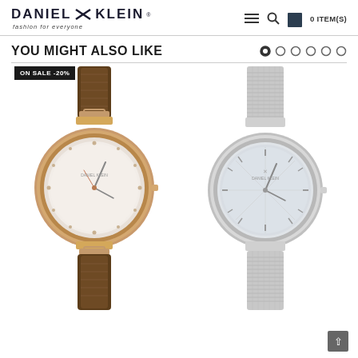DANIEL KLEIN fashion for everyone | 0 ITEM(S)
YOU MIGHT ALSO LIKE
[Figure (photo): Daniel Klein watch with brown leather strap and rose gold case, white/silver dial with crystal hour markers. ON SALE -20% badge.]
[Figure (photo): Daniel Klein watch with silver mesh strap and silver case, silver sunburst dial with minimal hour markers.]